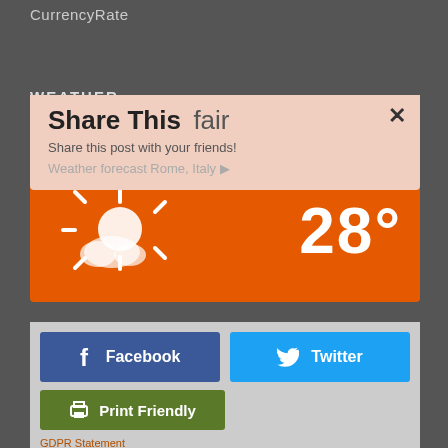CurrencyRate
WEATHER
[Figure (screenshot): Weather widget showing ROME with sunny/cloudy icon and temperature 28°, with a 'Share This fair' overlay popup showing Facebook, Twitter, and Print Friendly buttons]
© Copyright 2020 The American | In Italia Rome • Milan • London • New York • Washington, D.C. GDPR Statement